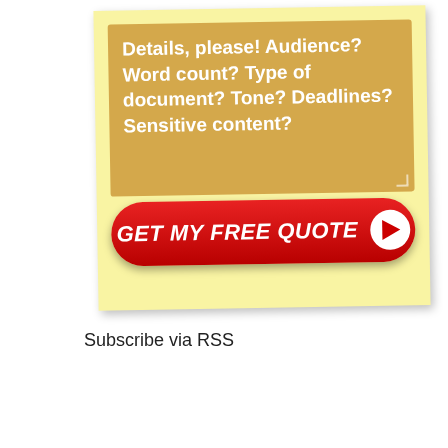[Figure (screenshot): A yellow sticky note widget with a tan/gold textarea placeholder showing prompt questions, and a red 'GET MY FREE QUOTE' call-to-action button with a play icon.]
Subscribe via RSS